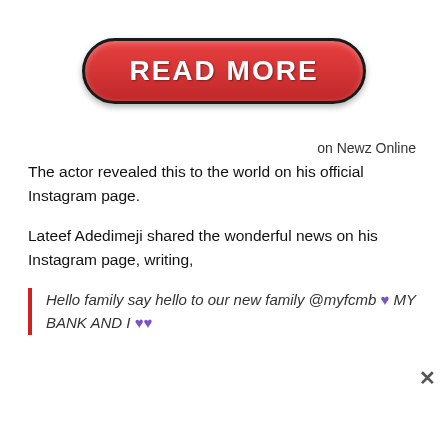[Figure (other): Red 'READ MORE' button with rounded pill shape, bold white uppercase text, dark border]
on Newz Online
The actor revealed this to the world on his official Instagram page.
Lateef Adedimeji shared the wonderful news on his Instagram page, writing,
Hello family say hello to our new family @myfcmb 💜 MY BANK AND I 💜💜